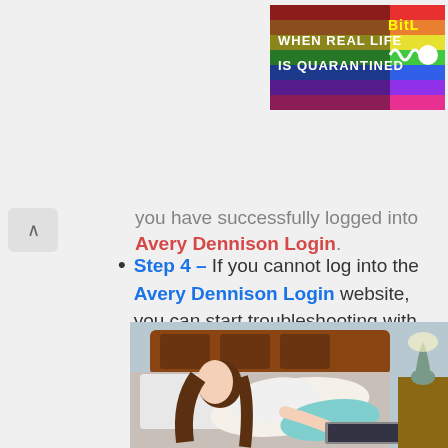[Figure (illustration): Advertisement banner with rainbow colors and text 'WHEN REAL LIFE IS QUARANTINED' with 'BitL' branding on the right side]
you have successfully logged into Avery Dennison Login.
Step 4 – If you cannot log into the Avery Dennison Login website, you can start troubleshooting with the guide we have prepared below or contact us for support.
[Figure (photo): Woman with long brown hair lying on a bed using a laptop computer, wearing a white shirt and light teal/mint skirt]